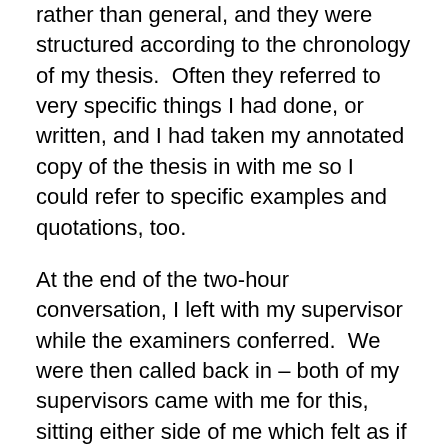rather than general, and they were structured according to the chronology of my thesis.  Often they referred to very specific things I had done, or written, and I had taken my annotated copy of the thesis in with me so I could refer to specific examples and quotations, too.
At the end of the two-hour conversation, I left with my supervisor while the examiners conferred.  We were then called back in – both of my supervisors came with me for this, sitting either side of me which felt as if I had taken in my “minders”.  I was given the judgement: ‘Award with minor revisions to be completed within three months’.
I was delighted to have passed, and not unhappy with the minor revisions, which I felt were well within my capability and which would actually make my thesis stronger.  Being awarded the degree was such a good feeling.  I suggest, though, that it may be useful to have planned what will